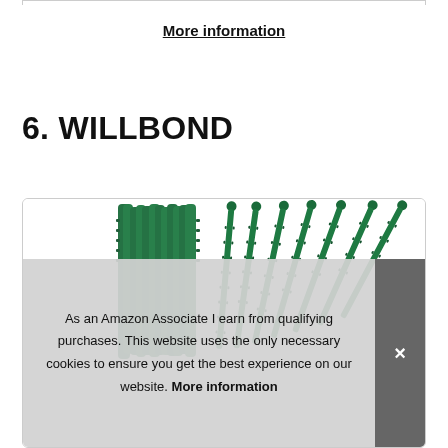More information
6. WILLBOND
[Figure (photo): Product photo showing green plant ties/garden stakes - serrated green plastic strips bundled together and spread out individually against a white background]
As an Amazon Associate I earn from qualifying purchases. This website uses the only necessary cookies to ensure you get the best experience on our website. More information